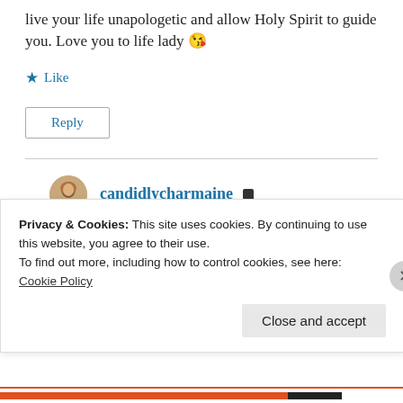live your life unapologetic and allow Holy Spirit to guide you. Love you to life lady 😘
★ Like
Reply
candidlycharmaine 🔸 August 3, 2017 at 3:32 am
Thank you so much, I so need I...
Privacy & Cookies: This site uses cookies. By continuing to use this website, you agree to their use.
To find out more, including how to control cookies, see here:
Cookie Policy
Close and accept